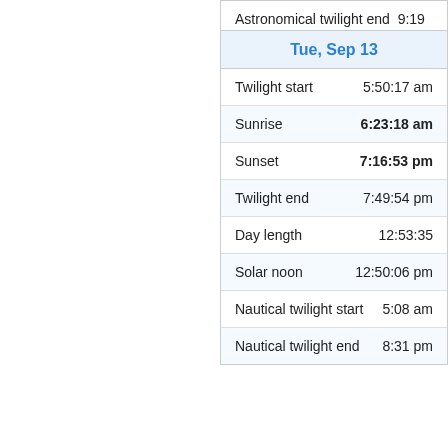Astronomical twilight end 9:19 pm
| Event | Time |
| --- | --- |
| Tue, Sep 13 |  |
| Twilight start | 5:50:17 am |
| Sunrise | 6:23:18 am |
| Sunset | 7:16:53 pm |
| Twilight end | 7:49:54 pm |
| Day length | 12:53:35 |
| Solar noon | 12:50:06 pm |
| Nautical twilight start | 5:08 am |
| Nautical twilight end | 8:31 pm |